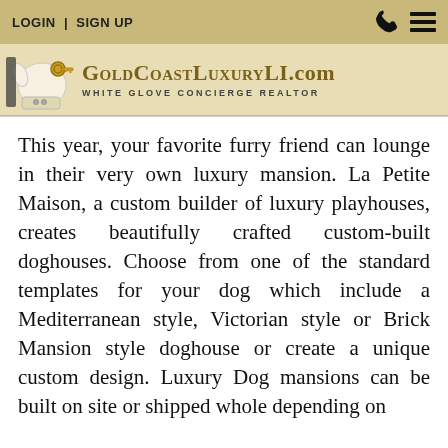LOGIN | SIGN UP
[Figure (logo): GoldCoastLuxuryLI.com logo with white glove holding keys and text 'WHITE GLOVE CONCIERGE REALTOR']
This year, your favorite furry friend can lounge in their very own luxury mansion. La Petite Maison, a custom builder of luxury playhouses, creates beautifully crafted custom-built doghouses. Choose from one of the standard templates for your dog which include a Mediterranean style, Victorian style or Brick Mansion style doghouse or create a unique custom design. Luxury Dog mansions can be built on site or shipped whole depending on